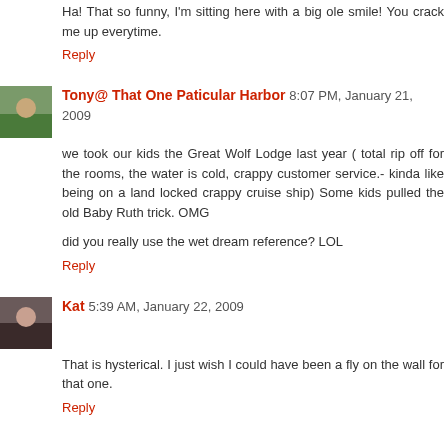Ha! That so funny, I'm sitting here with a big ole smile! You crack me up everytime.
Reply
Tony@ That One Paticular Harbor 8:07 PM, January 21, 2009
we took our kids the Great Wolf Lodge last year ( total rip off for the rooms, the water is cold, crappy customer service.- kinda like being on a land locked crappy cruise ship) Some kids pulled the old Baby Ruth trick. OMG
did you really use the wet dream reference? LOL
Reply
Kat 5:39 AM, January 22, 2009
That is hysterical. I just wish I could have been a fly on the wall for that one.
Reply